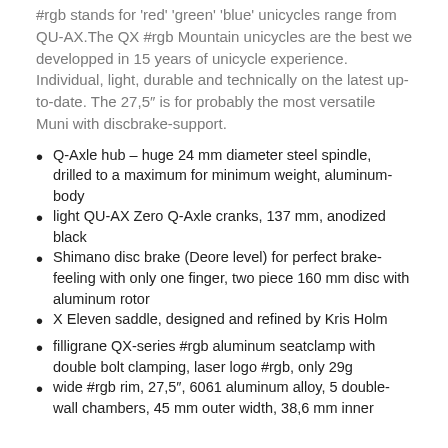#rgb stands for 'red' 'green' 'blue' unicycles range from QU-AX.The QX #rgb Mountain unicycles are the best we developped in 15 years of unicycle experience. Individual, light, durable and technically on the latest up-to-date. The 27,5″ is for probably the most versatile Muni with discbrake-support.
Q-Axle hub – huge 24 mm diameter steel spindle, drilled to a maximum for minimum weight, aluminum-body
light QU-AX Zero Q-Axle cranks, 137 mm, anodized black
Shimano disc brake (Deore level) for perfect brake-feeling with only one finger, two piece 160 mm disc with aluminum rotor
X Eleven saddle, designed and refined by Kris Holm
filligrane QX-series #rgb aluminum seatclamp with double bolt clamping, laser logo #rgb, only 29g
wide #rgb rim, 27,5″, 6061 aluminum alloy, 5 double-wall chambers, 45 mm outer width, 38,6 mm inner